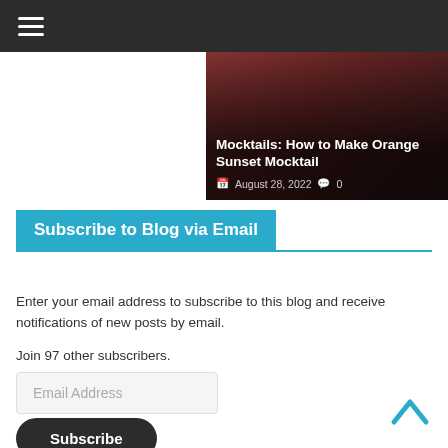Navigation bar with hamburger menu
[Figure (photo): Article card showing 'Mocktails: How to Make Orange Sunset Mocktail' with date August 28, 2022 and 0 comments, overlaid on a dark reddish background]
Subscribe to Blog via Email
Enter your email address to subscribe to this blog and receive notifications of new posts by email.
Join 97 other subscribers.
Email Address
Subscribe